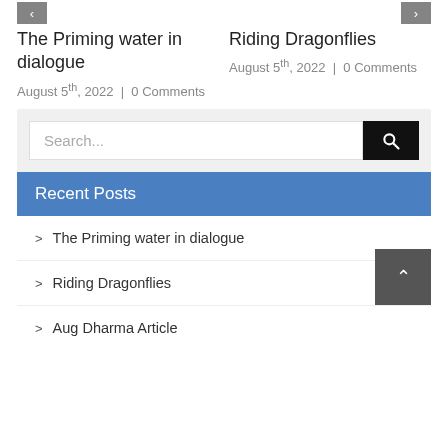The Priming water in dialogue
August 5th, 2022 | 0 Comments
Riding Dragonflies
August 5th, 2022 | 0 Comments
Search...
Recent Posts
The Priming water in dialogue
Riding Dragonflies
Aug Dharma Article